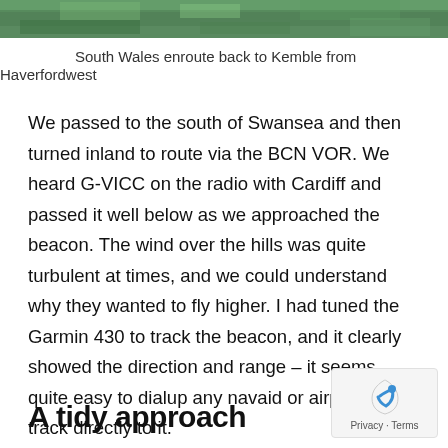[Figure (photo): Aerial photograph of South Wales countryside, green fields visible from above]
South Wales enroute back to Kemble from Haverfordwest
We passed to the south of Swansea and then turned inland to route via the BCN VOR. We heard G-VICC on the radio with Cardiff and passed it well below as we approached the beacon. The wind over the hills was quite turbulent at times, and we could understand why they wanted to fly higher. I had tuned the Garmin 430 to track the beacon, and it clearly showed the direction and range – it seems quite easy to dialup any navaid or airport and track directly to it.
A tidy approach